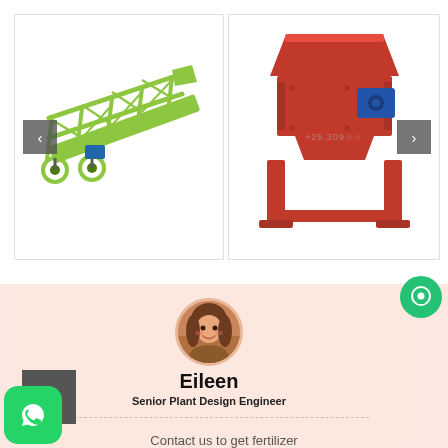[Figure (photo): Green conveyor/loading machine with wheels on white background]
[Figure (photo): Red industrial crusher/shredder machine on orange-red frame, with blue motor, on white background with watermark text]
[Figure (photo): Circular avatar photo of a woman named Eileen smiling]
Eileen
Senior Plant Design Engineer
Contact us to get fertilizer